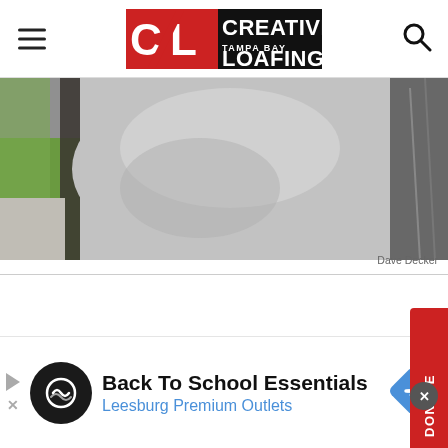Creative Loafing Tampa Bay
[Figure (photo): Close-up photo of a person's torso wearing a light grey t-shirt, outdoor setting]
Dave Decker
[Figure (other): Red vertical Donate button on the right side of the page]
[Figure (other): Advertisement banner: Back To School Essentials - Leesburg Premium Outlets]